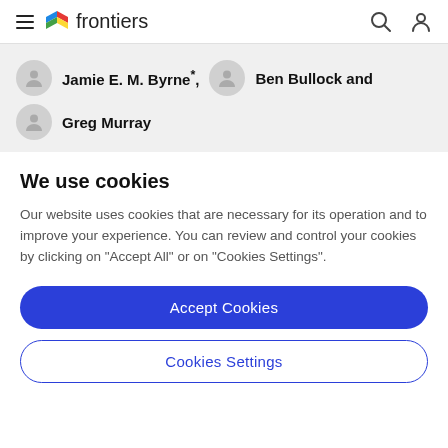frontiers
Jamie E. M. Byrne*, Ben Bullock and Greg Murray
We use cookies
Our website uses cookies that are necessary for its operation and to improve your experience. You can review and control your cookies by clicking on "Accept All" or on "Cookies Settings".
Accept Cookies
Cookies Settings